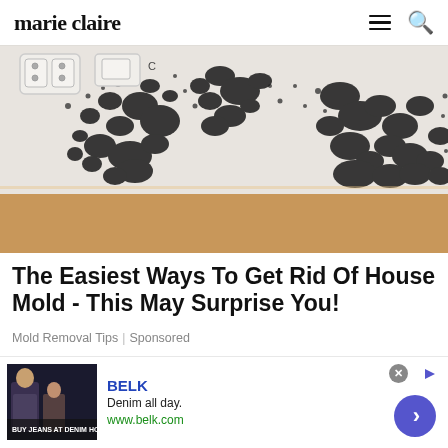marie claire
[Figure (photo): Photo of severe black mold covering the corner walls of a room with white walls, electrical outlets visible, and a wood baseboard and hardwood floor at the bottom.]
The Easiest Ways To Get Rid Of House Mold - This May Surprise You!
Mold Removal Tips | Sponsored
[Figure (screenshot): Advertisement banner for BELK. Thumbnail shows clothing/fashion images. Text reads: BELK, Denim all day., www.belk.com. Navigation arrow button on the right. Close button (x) and small arrow icon at top right.]